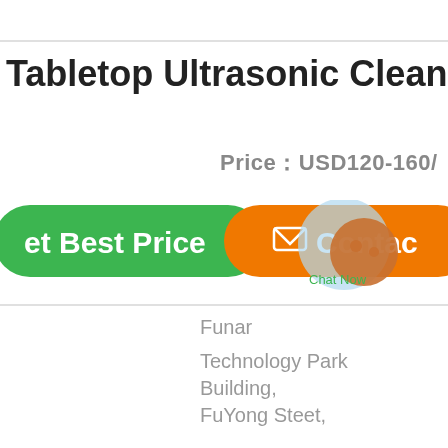Tabletop Ultrasonic Cleaner
Price：USD120-160/
[Figure (other): Green 'Get Best Price' button and orange 'Contact' button with chat bubble overlay]
Funar
Technology Park Building, FuYong Steet,